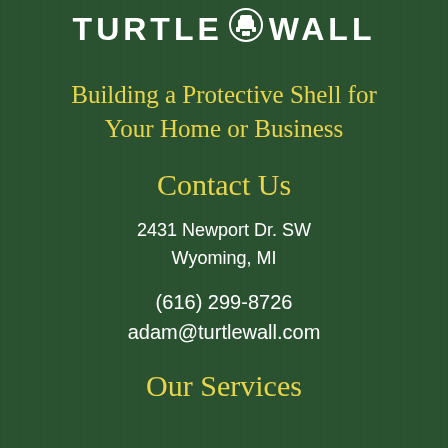TURTLE WALL
Building a Protective Shell for Your Home or Business
Contact Us
2431 Newport Dr. SW
Wyoming, MI
(616) 299-8726
adam@turtlewall.com
Our Services